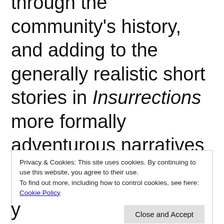through the community's history, and adding to the generally realistic short stories in Insurrections more formally adventurous narratives marked by fantasia and a kind of magical realism. From the stories in the
Privacy & Cookies: This site uses cookies. By continuing to use this website, you agree to their use. To find out more, including how to control cookies, see here: Cookie Policy
y